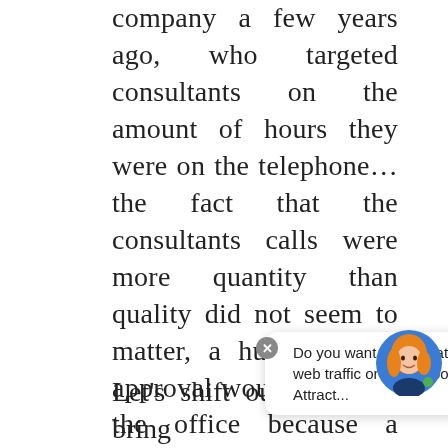company a few years ago, who targeted consultants on the amount of hours they were on the telephone...the fact that the consultants calls were more quantity than quality did not seem to matter, a huge roar of approval would go up in the office because a consultant had been on the phone for 4 hours that day. And so the hatred for the telephone call begins.
[Figure (other): A tooltip/chat bubble overlay with close button and avatar illustration of a woman with orange hair]
Let's shift our thinking, bring